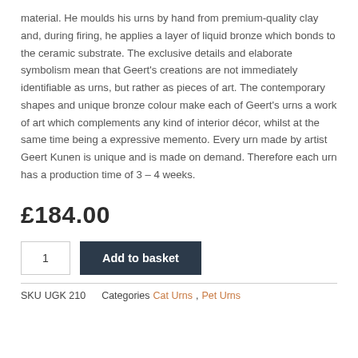material. He moulds his urns by hand from premium-quality clay and, during firing, he applies a layer of liquid bronze which bonds to the ceramic substrate. The exclusive details and elaborate symbolism mean that Geert's creations are not immediately identifiable as urns, but rather as pieces of art. The contemporary shapes and unique bronze colour make each of Geert's urns a work of art which complements any kind of interior décor, whilst at the same time being a expressive memento. Every urn made by artist Geert Kunen is unique and is made on demand. Therefore each urn has a production time of 3 – 4 weeks.
£184.00
1  Add to basket
SKU UGK 210   Categories Cat Urns, Pet Urns